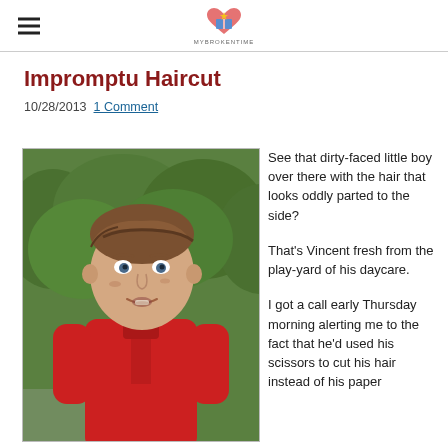[hamburger menu icon] [site logo/icon]
Impromptu Haircut
10/28/2013  1 Comment
[Figure (photo): Close-up photo of a young boy with brown hair oddly parted to the side, wearing a red hoodie, with a dirty face, standing in front of green bushes.]
See that dirty-faced little boy over there with the hair that looks oddly parted to the side?

That's Vincent fresh from the play-yard of his daycare.

I got a call early Thursday morning alerting me to the fact that he'd used his scissors to cut his hair instead of his paper